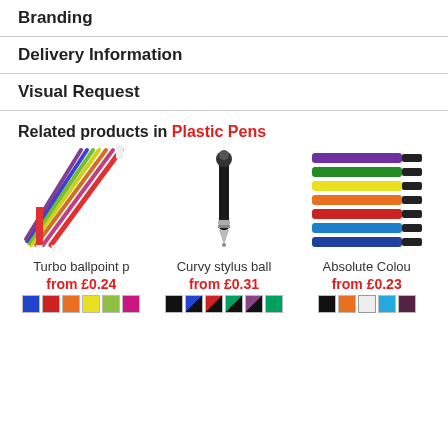Branding
Delivery Information
Visual Request
Related products in Plastic Pens
[Figure (photo): Multiple colorful ballpoint pens fanned out]
Turbo ballpoint p
from £0.24
[Figure (photo): Black curvy stylus ballpoint pen]
Curvy stylus ball
from £0.31
[Figure (photo): Stack of colorful Absolute Colour pens]
Absolute Colou
from £0.23